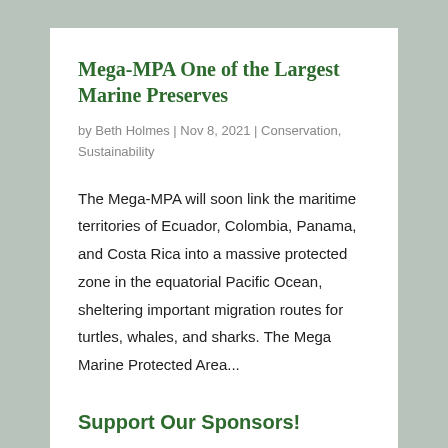Mega-MPA One of the Largest Marine Preserves
by Beth Holmes | Nov 8, 2021 | Conservation, Sustainability
The Mega-MPA will soon link the maritime territories of Ecuador, Colombia, Panama, and Costa Rica into a massive protected zone in the equatorial Pacific Ocean, sheltering important migration routes for turtles, whales, and sharks. The Mega Marine Protected Area...
Support Our Sponsors!